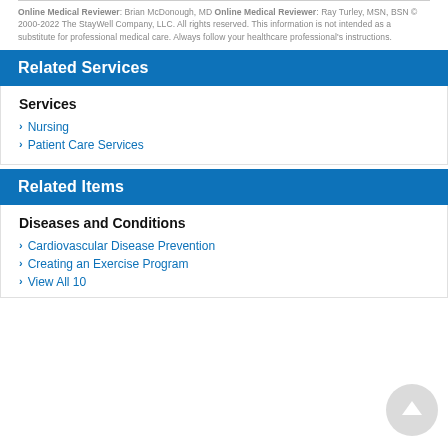Online Medical Reviewer: Brian McDonough, MD
Online Medical Reviewer: Ray Turley, MSN, BSN
© 2000-2022 The StayWell Company, LLC. All rights reserved. This information is not intended as a substitute for professional medical care. Always follow your healthcare professional's instructions.
Related Services
Services
Nursing
Patient Care Services
Related Items
Diseases and Conditions
Cardiovascular Disease Prevention
Creating an Exercise Program
View All 10